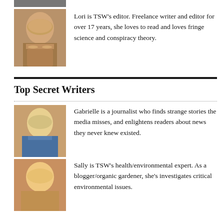[Figure (photo): Partial photo at top of page, cropped]
[Figure (photo): Photo of Lori, TSW editor, woman with wavy blonde hair]
Lori is TSW's editor. Freelance writer and editor for over 17 years, she loves to read and loves fringe science and conspiracy theory.
Top Secret Writers
[Figure (photo): Photo of Gabrielle, journalist]
Gabrielle is a journalist who finds strange stories the media misses, and enlightens readers about news they never knew existed.
[Figure (photo): Photo of Sally, TSW health/environmental expert]
Sally is TSW's health/environmental expert. As a blogger/organic gardener, she's investigates critical environmental issues.
[Figure (photo): Photo of Mark Dorr, son of a treasure hunter]
Mark Dorr grew up the son of a treasure hunter. His experiences led to working internationally in some surprising situations!
[Figure (photo): Photo of Mark R. Whittington, from Houston, Texas]
Mark R. Whittington, from Houston, Texas, frequently writes on space, science, political